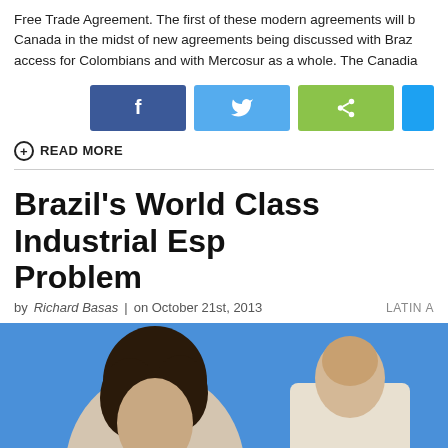Free Trade Agreement. The first of these modern agreements will be Canada in the midst of new agreements being discussed with Brazil, access for Colombians and with Mercosur as a whole. The Canada...
[Figure (other): Social media share buttons: Facebook (blue), Twitter (light blue), Share (green), and a partial blue button]
READ MORE
Brazil's World Class Industrial Esp... Problem
by Richard Basas | on October 21st, 2013   LATIN A...
[Figure (photo): Photo showing two people, one with dark curly hair on the left and one in a light shirt on the right, against a blue background]